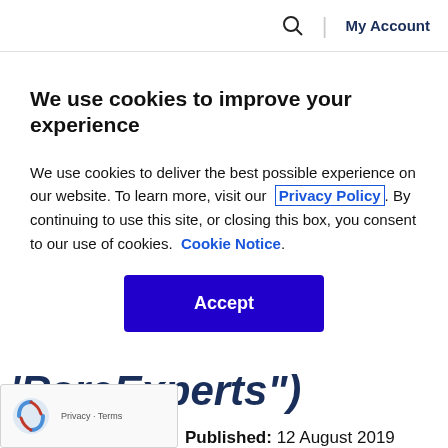🔍 | My Account
We use cookies to improve your experience
We use cookies to deliver the best possible experience on our website. To learn more, visit our  Privacy Policy . By continuing to use this site, or closing this box, you consent to our use of cookies.  Cookie Notice .
Accept
'RareExperts")
Published: 12 August 2019